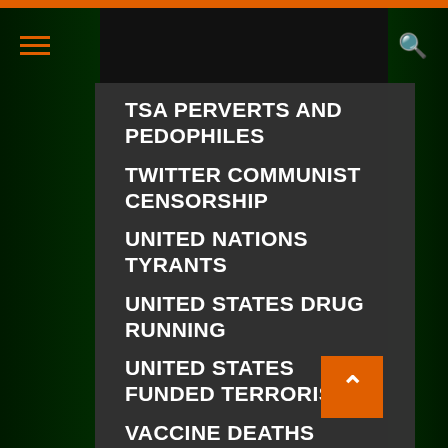Navigation menu header with hamburger icon and search icon
TSA PERVERTS AND PEDOPHILES
TWITTER COMMUNIST CENSORSHIP
UNITED NATIONS TYRANTS
UNITED STATES DRUG RUNNING
UNITED STATES FUNDED TERRORISTS
VACCINE DEATHS DANGERS AND SIDE EFFECTS
WAR CRIMINALS
WHAT IN THE HELL IS THAT
WHITE GUILT AGENDA
WIKILEAKS/Julian Assange
WORLD RELIGION/WORSHIP OF AI COMPUTERS
YOUTUBE COMMUNIST CENSORSHIP